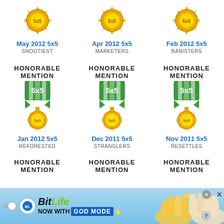[Figure (illustration): Gold sunburst medal for May 2012 5x5]
May 2012 5x5
SNOOTIEST
[Figure (illustration): Gold sunburst medal for Apr 2012 5x5]
Apr 2012 5x5
MARKETERS
[Figure (illustration): Gold sunburst medal for Feb 2012 5x5]
Feb 2012 5x5
BANISTERS
HONORABLE MENTION
[Figure (illustration): 5x5 honorable mention medal badge - green ribbon with gold sunburst]
Jan 2012 5x5
REFORESTED
HONORABLE MENTION
[Figure (illustration): 5x5 honorable mention medal badge - green ribbon with gold sunburst]
Dec 2011 5x5
STRANGLERS
HONORABLE MENTION
[Figure (illustration): 5x5 honorable mention medal badge - green ribbon with gold sunburst]
Nov 2011 5x5
RESETTLES
HONORABLE MENTION
HONORABLE MENTION
HONORABLE MENTION
[Figure (advertisement): BitLife - Now with God Mode advertisement banner]